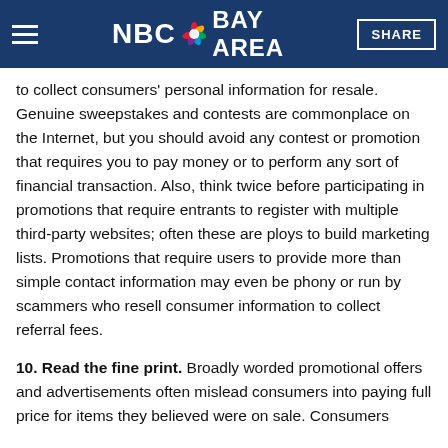NBC Bay Area
to collect consumers' personal information for resale. Genuine sweepstakes and contests are commonplace on the Internet, but you should avoid any contest or promotion that requires you to pay money or to perform any sort of financial transaction. Also, think twice before participating in promotions that require entrants to register with multiple third-party websites; often these are ploys to build marketing lists. Promotions that require users to provide more than simple contact information may even be phony or run by scammers who resell consumer information to collect referral fees.
10. Read the fine print. Broadly worded promotional offers and advertisements often mislead consumers into paying full price for items they believed were on sale. Consumers